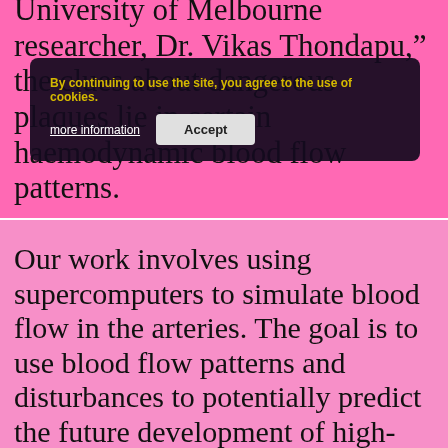University of Melbourne researcher, Dr. Vikas Thondapu," the clues about dangerous plaques lie in certain haemodynamic blood flow patterns.
Our work involves using supercomputers to simulate blood flow in the arteries. The goal is to use blood flow patterns and disturbances to potentially predict the future development of high-risk plaques".
[Figure (photo): Dark/black background image area at the bottom of the page]